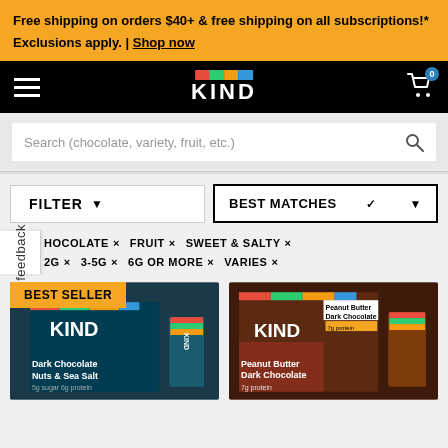Free shipping on orders $40+ & free shipping on all subscriptions!* Exclusions apply. | Shop now
[Figure (logo): KIND brand logo with multicolor bar (red, green, blue) and white KIND text on black navigation bar]
Search (chocolate, variety, fruit, etc.)
FILTER
BEST MATCHES
CHOCOLATE ×
FRUIT ×
SWEET & SALTY ×
2G ×
3-5G ×
6G OR MORE ×
VARIES ×
[Figure (screenshot): KIND Dark Chocolate Nuts & Sea Salt product box with BEST SELLER badge]
[Figure (screenshot): KIND Peanut Butter Dark Chocolate product box]